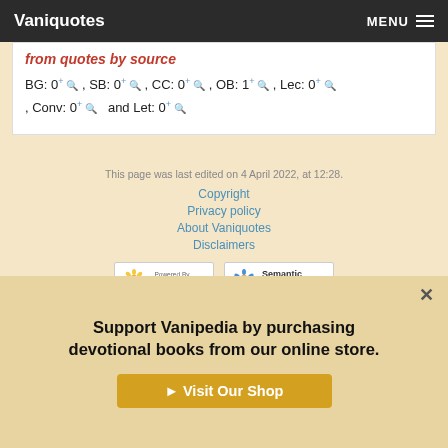Vaniquotes   MENU
BG: 0+ , SB: 0+ , CC: 0+ , OB: 1+ , Lec: 0+ , Conv: 0+  and Let: 0+
This page was last edited on 4 April 2022, at 12:28.
Copyright
Privacy policy
About Vaniquotes
Disclaimers
[Figure (logo): Powered by MediaWiki logo with sunflower icon]
[Figure (logo): Semantic MediaWiki logo with flower icon]
Support Vanipedia by purchasing devotional books from our online store.
▶ Visit Our Shop